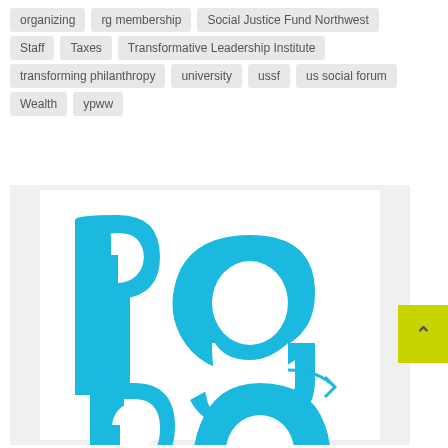organizing
rg membership
Social Justice Fund Northwest
Staff
Taxes
Transformative Leadership Institute
transforming philanthropy
university
ussf
us social forum
Wealth
ypww
[Figure (logo): RG (Resource Generation) logo in cyan/blue color, showing lowercase 'r' and 'g' letters where the 'g' has an arrow incorporated into its design, on a white background within a light gray container]